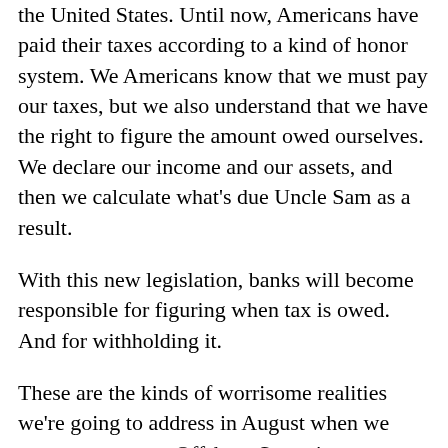the United States. Until now, Americans have paid their taxes according to a kind of honor system. We Americans know that we must pay our taxes, but we also understand that we have the right to figure the amount owed ourselves. We declare our income and our assets, and then we calculate what's due Uncle Sam as a result.
With this new legislation, banks will become responsible for figuring when tax is owed. And for withholding it.
These are the kinds of worrisome realities we're going to address in August when we convene our next Offshore Summit.
We're going to do something else, perhaps even more important, during the three days of this event. We're going to present your options...